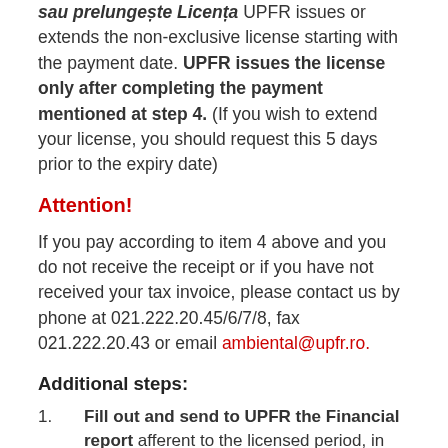sau prelungește Licența UPFR issues or extends the non-exclusive license starting with the payment date. UPFR issues the license only after completing the payment mentioned at step 4. (If you wish to extend your license, you should request this 5 days prior to the expiry date)
Attention!
If you pay according to item 4 above and you do not receive the receipt or if you have not received your tax invoice, please contact us by phone at 021.222.20.45/6/7/8, fax 021.222.20.43 or email ambiental@upfr.ro.
Additional steps:
Fill out and send to UPFR the Financial report afferent to the licensed period, in the first 5 days of the following month of the expiry, in order to calculate the differences...